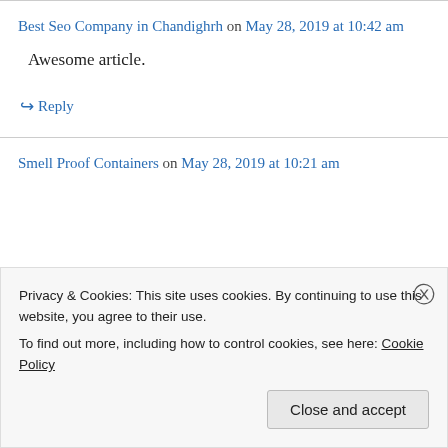Best Seo Company in Chandighrh on May 28, 2019 at 10:42 am
Awesome article.
↳ Reply
Smell Proof Containers on May 28, 2019 at 10:21 am
Privacy & Cookies: This site uses cookies. By continuing to use this website, you agree to their use.
To find out more, including how to control cookies, see here: Cookie Policy
Close and accept